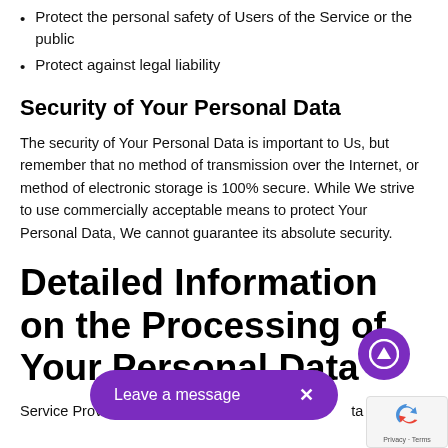Protect the personal safety of Users of the Service or the public
Protect against legal liability
Security of Your Personal Data
The security of Your Personal Data is important to Us, but remember that no method of transmission over the Internet, or method of electronic storage is 100% secure. While We strive to use commercially acceptable means to protect Your Personal Data, We cannot guarantee its absolute security.
Detailed Information on the Processing of Your Personal Data
Service Providers have access to Your Personal Data only to